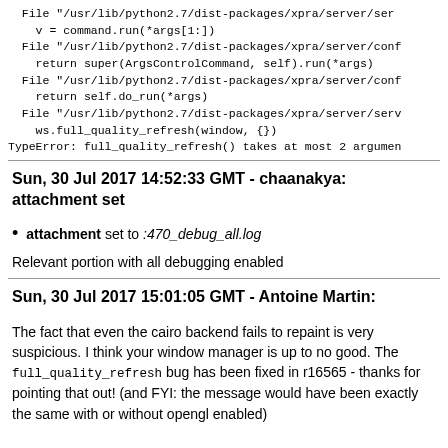File "/usr/lib/python2.7/dist-packages/xpra/server/ser
  v = command.run(*args[1:])
File "/usr/lib/python2.7/dist-packages/xpra/server/conf
  return super(ArgsControlCommand, self).run(*args)
File "/usr/lib/python2.7/dist-packages/xpra/server/conf
  return self.do_run(*args)
File "/usr/lib/python2.7/dist-packages/xpra/server/serv
  ws.full_quality_refresh(window, {})
TypeError: full_quality_refresh() takes at most 2 argumen
Sun, 30 Jul 2017 14:52:33 GMT - chaanakya: attachment set
attachment set to :470_debug_all.log
Relevant portion with all debugging enabled
Sun, 30 Jul 2017 15:01:05 GMT - Antoine Martin:
The fact that even the cairo backend fails to repaint is very suspicious. I think your window manager is up to no good. The full_quality_refresh bug has been fixed in r16565 - thanks for pointing that out! (and FYI: the message would have been exactly the same with or without opengl enabled)